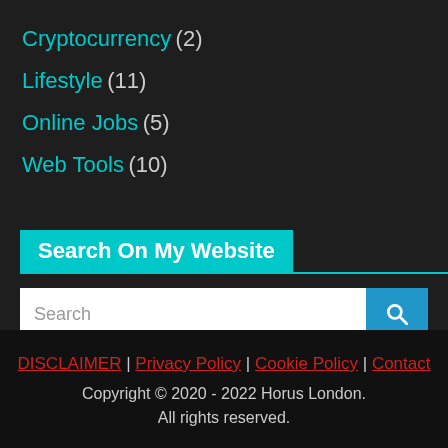Cryptocurrency (2)
Lifestyle (11)
Online Jobs (5)
Web Tools (10)
Search On My Website
DISCLAIMER | Privacy Policy | Cookie Policy | Contact
Copyright © 2020 - 2022 Horus London.
All rights reserved.